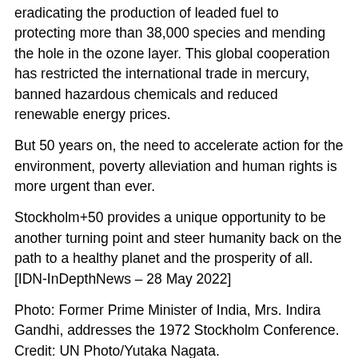eradicating the production of leaded fuel to protecting more than 38,000 species and mending the hole in the ozone layer. This global cooperation has restricted the international trade in mercury, banned hazardous chemicals and reduced renewable energy prices.
But 50 years on, the need to accelerate action for the environment, poverty alleviation and human rights is more urgent than ever.
Stockholm+50 provides a unique opportunity to be another turning point and steer humanity back on the path to a healthy planet and the prosperity of all. [IDN-InDepthNews – 28 May 2022]
Photo: Former Prime Minister of India, Mrs. Indira Gandhi, addresses the 1972 Stockholm Conference. Credit: UN Photo/Yutaka Nagata.
IDN is the flagship agency of the Non-profit International Press Syndicate.